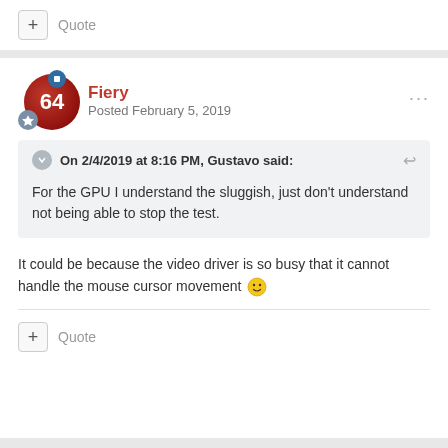+ Quote
Fiery
Posted February 5, 2019
On 2/4/2019 at 8:16 PM, Gustavo said:
For the GPU I understand the sluggish, just don't understand not being able to stop the test.
It could be because the video driver is so busy that it cannot handle the mouse cursor movement 🙂
+ Quote